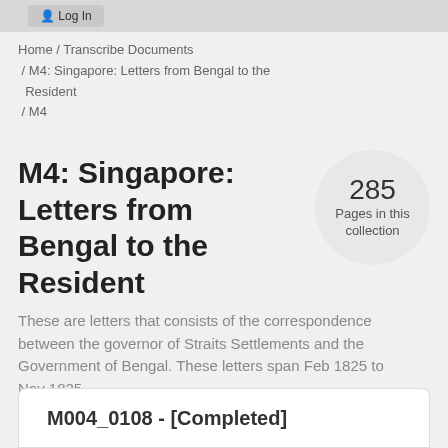Log In
Home / Transcribe Documents / M4: Singapore: Letters from Bengal to the Resident / M4
M4: Singapore: Letters from Bengal to the Resident
[Figure (infographic): Circle badge showing '285 Pages in this collection']
These are letters that consists of the correspondence between the governor of Straits Settlements and the Government of Bengal. These letters span Feb 1825 to Nov 1825.
M004_0108 - [Completed]